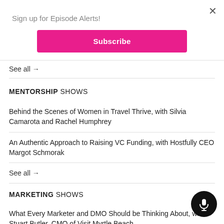Sign up for Episode Alerts!
Subscribe
See all →
MENTORSHIP SHOWS
Behind the Scenes of Women in Travel Thrive, with Silvia Camarota and Rachel Humphrey
An Authentic Approach to Raising VC Funding, with Hostfully CEO Margot Schmorak
See all →
MARKETING SHOWS
What Every Marketer and DMO Should be Thinking About, with Stuart Butler, CMO of Visit Myrtle Beach